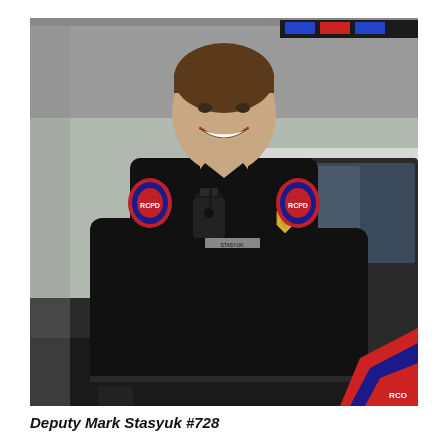[Figure (photo): A smiling male deputy sheriff in a black uniform with red-trimmed shoulder patches, a badge, radio, and duty belt, standing in front of a law enforcement vehicle. The vehicle has a partial Rancho Cordova Police/Sheriff logo visible at lower right.]
Deputy Mark Stasyuk #728